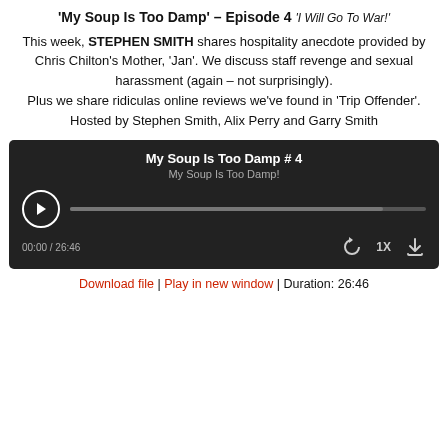'My Soup Is Too Damp' – Episode 4 'I Will Go To War!'
This week, STEPHEN SMITH shares hospitality anecdote provided by Chris Chilton's Mother, 'Jan'. We discuss staff revenge and sexual harassment (again – not surprisingly). Plus we share ridiculas online reviews we've found in 'Trip Offender'. Hosted by Stephen Smith, Alix Perry and Garry Smith
[Figure (other): Audio player widget showing 'My Soup Is Too Damp # 4' podcast episode. Contains play button, progress bar showing 00:00 / 26:46, playback speed 1X, and download icon.]
Download file | Play in new window | Duration: 26:46